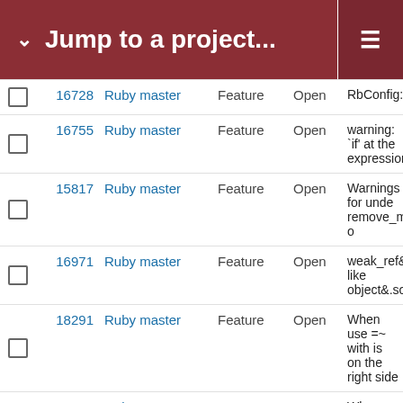Jump to a project...
|  | # | Project | Tracker | Status | Subject |
| --- | --- | --- | --- | --- | --- |
|  | 16728 | Ruby master | Feature | Open | RbConfig::SIZEOF |
|  | 16755 | Ruby master | Feature | Open | warning: `if' at the expression |
|  | 15817 | Ruby master | Feature | Open | Warnings for unde remove_method o |
|  | 16971 | Ruby master | Feature | Open | weak_ref&.some_ like object&.some_ |
|  | 18291 | Ruby master | Feature | Open | When use =~ with is on the right side |
|  | 17550 | Ruby master | Feature | Open | Why no function to of a directory? |
|  | 9909 | Ruby master | Feature | Open | why shouldn't con nesting of module' |
|  | 14348 | Ruby master | Feature | Open | win32ole: enable u multiple IDispatch |
|  | 14723 | Ruby master | Feature | Open | [WIP] sleepy GC |
|  | 16128 | Ruby master | Feature | Open | Would it be possib about case/when n separated by a tra |
|  | 11781 | Ruby master | Feature | Open | Would it be possib towards .unshift() default? |